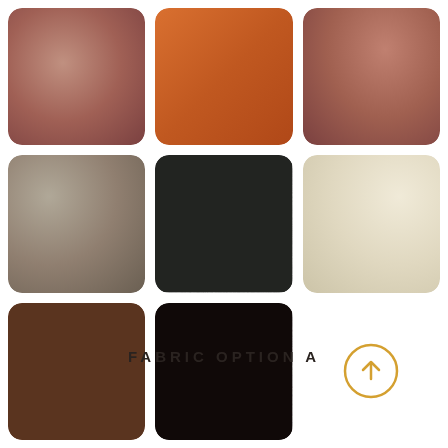[Figure (infographic): A 3x3 grid of leather/fabric color swatches in various colors: dusty rose/mauve, burnt orange, terracotta (row 1); taupe/gray, dark charcoal textured leather, cream/ivory (row 2); medium brown textured leather, very dark espresso brown textured leather, and an empty cell with a circular gold up-arrow button (row 3). Below is a section label 'FABRIC OPTION A' and a partial bottom row showing three more swatches: gold/yellow, light gray/white, and dark gray.]
FABRIC OPTION A